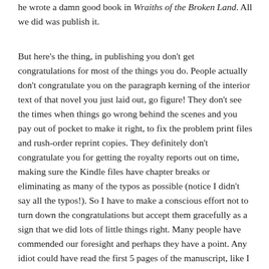he wrote a damn good book in Wraiths of the Broken Land. All we did was publish it.
But here's the thing, in publishing you don't get congratulations for most of the things you do. People actually don't congratulate you on the paragraph kerning of the interior text of that novel you just laid out, go figure! They don't see the times when things go wrong behind the scenes and you pay out of pocket to make it right, to fix the problem print files and rush-order reprint copies. They definitely don't congratulate you for getting the royalty reports out on time, making sure the Kindle files have chapter breaks or eliminating as many of the typos as possible (notice I didn't say all the typos!). So I have to make a conscious effort not to turn down the congratulations but accept them gracefully as a sign that we did lots of little things right. Many people have commended our foresight and perhaps they have a point. Any idiot could have read the first 5 pages of the manuscript, like I did, and KNOW that it was a book worth publishing. But it's also a dark and brutal book that mixes genres so few were the only ones to take the risk. And while I always thought it might be a movie that was not part of the decision to publish. It was simply not being able to turn down a good book.